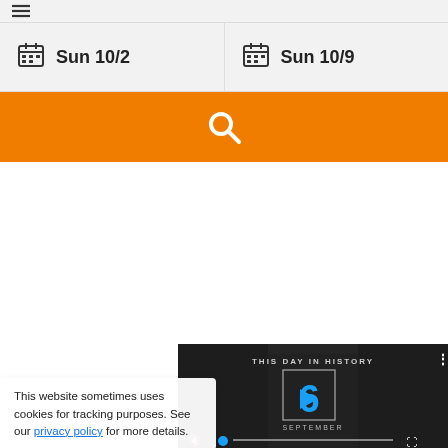[Figure (screenshot): Top bar with arrow/navigation icon on grey background]
Sun 10/2
Sun 10/9
[Figure (other): Orange search button bar with white magnifying glass icon]
[Figure (screenshot): Video thumbnail: This Day In History - September, with play button overlay, mute and progress bar controls]
This website sometimes uses cookies for tracking purposes. See our privacy policy for more details.